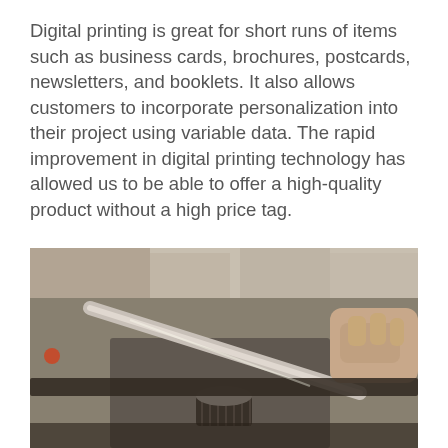Digital printing is great for short runs of items such as business cards, brochures, postcards, newsletters, and booklets. It also allows customers to incorporate personalization into their project using variable data. The rapid improvement in digital printing technology has allowed us to be able to offer a high-quality product without a high price tag.
[Figure (photo): Close-up photograph of a printing press or engraving machine, showing mechanical components including a cylindrical knob/roller and a metal arm/blade being guided by a person's hand, with blurred workshop background.]